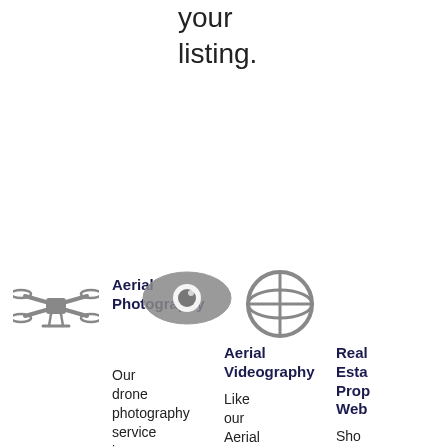your listing.
[Figure (illustration): Drone icon (quadcopter silhouette in gray)]
Aerial Photography
Our drone photography service is
[Figure (illustration): Eye icon overlapping globe/photography icon in gray]
Aerial Videography
Like our Aerial Photography service,
[Figure (illustration): Globe/web icon in gray]
Real Estate Property Web
Show your listing with